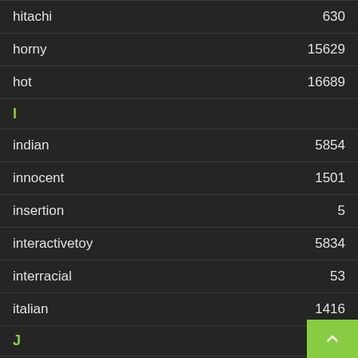hitachi  630
horny  15629
hot  16689
I
indian  5854
innocent  1501
insertion  5
interactivetoy  5834
interracial  53
italian  1416
J
japanese  621
joi  9400
juicy  266
K
kinky